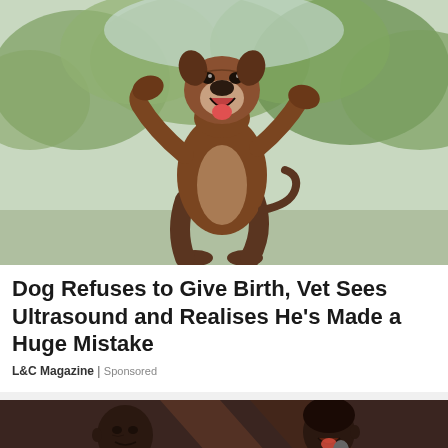[Figure (photo): A boxer dog standing upright on its hind legs with front paws raised, mouth open, photographed against a green leafy background outdoors.]
Dog Refuses to Give Birth, Vet Sees Ultrasound and Realises He's Made a Huge Mistake
L&C Magazine | Sponsored
[Figure (photo): Two people on stage, likely at an event or performance, partially visible with a large letter or logo behind them.]